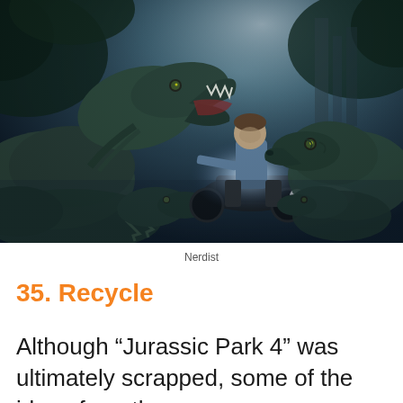[Figure (photo): Movie promotional image from Jurassic World showing a man on a motorcycle riding alongside velociraptors in a dark jungle setting]
Nerdist
35. Recycle
Although “Jurassic Park 4” was ultimately scrapped, some of the ideas from the